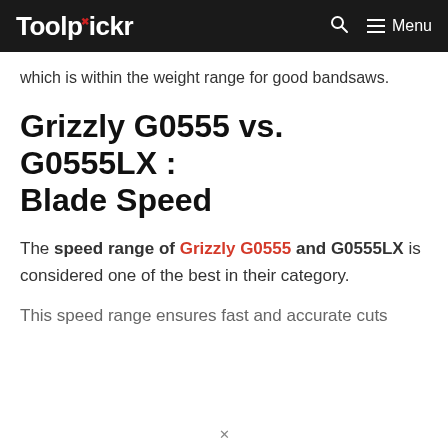Toolpickr
which is within the weight range for good bandsaws.
Grizzly G0555 vs. G0555LX : Blade Speed
The speed range of Grizzly G0555 and G0555LX is considered one of the best in their category.
This speed range ensures fast and accurate cuts